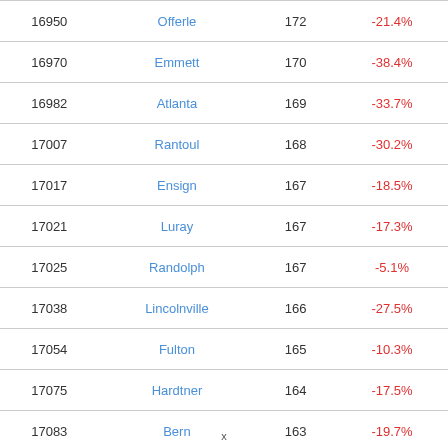| ID | Name | Value | Percent |
| --- | --- | --- | --- |
| 16950 | Offerle | 172 | -21.4% |
| 16970 | Emmett | 170 | -38.4% |
| 16982 | Atlanta | 169 | -33.7% |
| 17007 | Rantoul | 168 | -30.2% |
| 17017 | Ensign | 167 | -18.5% |
| 17021 | Luray | 167 | -17.3% |
| 17025 | Randolph | 167 | -5.1% |
| 17038 | Lincolnville | 166 | -27.5% |
| 17054 | Fulton | 165 | -10.3% |
| 17075 | Hardtner | 164 | -17.5% |
| 17083 | Bern | 163 | -19.7% |
| 17098 | Smolan | 163 | -25.2% |
| 17118 | Barnes | 161 | 5.9% |
x